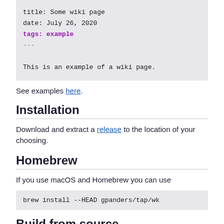title: Some wiki page
date: July 26, 2020
tags: example
---

This is an example of a wiki page.
See examples here.
Installation
Download and extract a release to the location of your choosing.
Homebrew
If you use macOS and Homebrew you can use
brew install --HEAD gpanders/tap/wk
Build from source